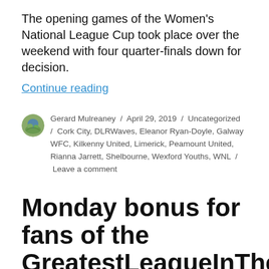The opening games of the Women's National League Cup took place over the weekend with four quarter-finals down for decision.
Continue reading
Gerard Mulreaney / April 29, 2019 / Uncategorized / Cork City, DLRWaves, Eleanor Ryan-Doyle, Galway WFC, Kilkenny United, Limerick, Peamount United, Rianna Jarrett, Shelbourne, Wexford Youths, WNL / Leave a comment
Monday bonus for fans of the GreatestLeagueInTheWorld